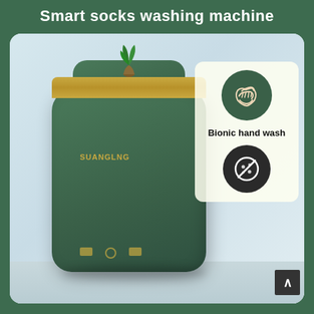Smart socks washing machine
[Figure (photo): Product advertisement image showing a dark green smart socks washing machine (brand SUANGLNG) with gold trim ring at top, a small plant growing from the top opening, sitting on a white surface in a bathroom setting. On the right side is a light yellow info card showing a dark green circle with hand washing icon and text 'Bionic hand wash', plus a dark circle with a no-bacteria/clean icon below it. A scroll-to-top button is visible in the bottom right corner.]